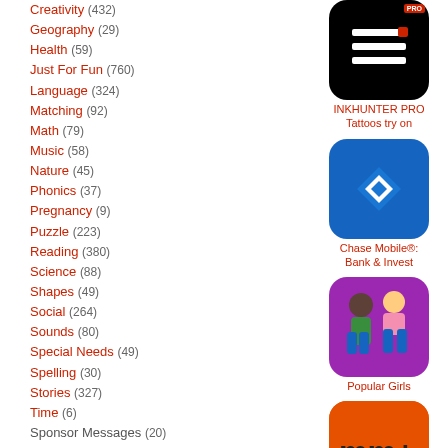Creativity (432)
Geography (29)
Health (59)
Just For Fun (760)
Language (324)
Matching (92)
Math (79)
Music (58)
Nature (45)
Phonics (37)
Pregnancy (9)
Puzzle (223)
Reading (380)
Science (88)
Shapes (49)
Social (264)
Sounds (80)
Special Needs (49)
Spelling (30)
Stories (327)
Time (6)
Sponsor Messages (20)
Sponsored Posts (582)
[Figure (screenshot): INKHUNTER PRO app icon - black background with list/form icon and PRO badge]
INKHUNTER PRO
Tattoos try on
[Figure (screenshot): Chase Mobile app icon - blue background with white Chase logo]
Chase Mobile®:
Bank & Invest
[Figure (screenshot): Popular Girls app icon - purple background with two girl characters]
Popular Girls
[Figure (screenshot): MyMacros+ app icon - orange background with mm+ text]
MyMacros+ | Diet &
| DieCalories